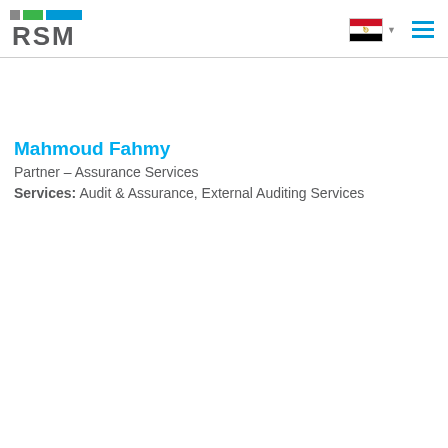RSM
Mahmoud Fahmy
Partner – Assurance Services
Services: Audit & Assurance, External Auditing Services